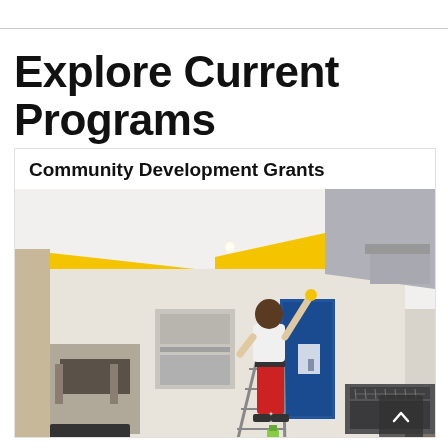Explore Current Programs
Community Development Grants
[Figure (photo): A person in a white shirt and red pants stands on a ladder in a commercial kitchen space, painting or cleaning the ceiling. The ceiling has yellow accent panels. Kitchen equipment including stainless steel appliances, a commercial range, and a blue door are visible in the background.]